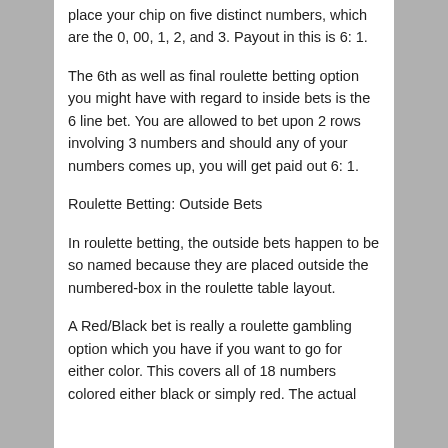place your chip on five distinct numbers, which are the 0, 00, 1, 2, and 3. Payout in this is 6: 1.
The 6th as well as final roulette betting option you might have with regard to inside bets is the 6 line bet. You are allowed to bet upon 2 rows involving 3 numbers and should any of your numbers comes up, you will get paid out 6: 1.
Roulette Betting: Outside Bets
In roulette betting, the outside bets happen to be so named because they are placed outside the numbered-box in the roulette table layout.
A Red/Black bet is really a roulette gambling option which you have if you want to go for either color. This covers all of 18 numbers colored either black or simply red. The actual